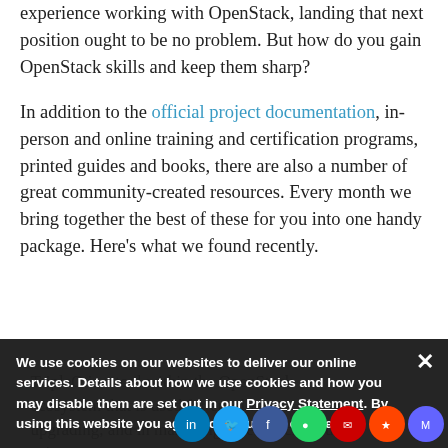experience working with OpenStack, landing that next position ought to be no problem. But how do you gain OpenStack skills and keep them sharp?
In addition to the official project documentation, in-person and online training and certification programs, printed guides and books, there are also a number of great community-created resources. Every month we bring together the best of these for you into one handy package. Here's what we found recently.
TripleO is a tool within the OpenStack ecosystem that is used for enrolling, upgrading, and in managing OpenStack clouds using some ... within the c
We use cookies on our websites to deliver our online services. Details about how we use cookies and how you may disable them are set out in our Privacy Statement. By using this website you agree to our use of cookies.